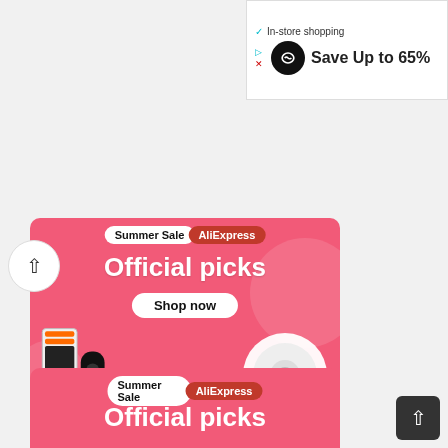[Figure (screenshot): Advertisement bar at top right showing an infinity symbol logo on black circle and text 'Save Up to 65%' with ad controls]
[Figure (screenshot): AliExpress Summer Sale banner ad showing 'Official picks' title with Shop now button, robot vacuum cleaner and gaming products (Nintendo Switch, gaming device). Pink/coral background with decorative circles.]
[Figure (screenshot): Second partial AliExpress Summer Sale banner at bottom showing 'Official picks' text on pink/coral background, partially visible.]